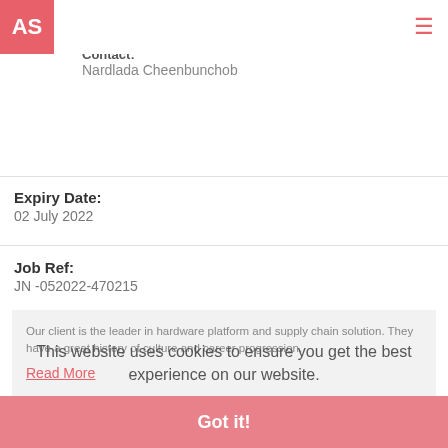[Figure (logo): AS logo box in red/pink with white text]
Sector:
Accounting & Finance
Contact:
Nardlada Cheenbunchob
Expiry Date:
02 July 2022
Job Ref:
JN -052022-470215
Our client is the leader in hardware platform and supply chain solution. They have a great history of culture and career progression.
Read More
Responsibilities:
Responsible for monthly/Quarterly/annual budgeting forecasting
This website uses cookies to ensure you get the best experience on our website.
Got it!